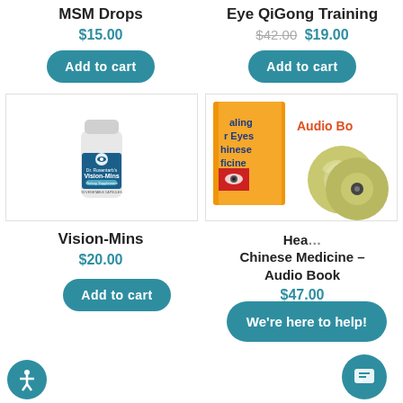MSM Drops
$15.00
Add to cart
Eye QiGong Training
$42.00 $19.00
Add to cart
[Figure (photo): White supplement bottle labeled Dr. Rosentarb's Vision-Mins Dietary Supplement, 90 Vegetable Capsules, with blue label and eye logo]
[Figure (photo): Book titled Healing Your Eyes with Chinese Medicine with orange cover and Audio Book text, alongside two CDs]
Vision-Mins
$20.00
Add to cart
Healing Your Eyes with Chinese Medicine – Audio Book
$47.00
[Figure (illustration): Accessibility icon button (person with circle) in teal circle]
We're here to help!
[Figure (illustration): Chat/message icon in teal circle]